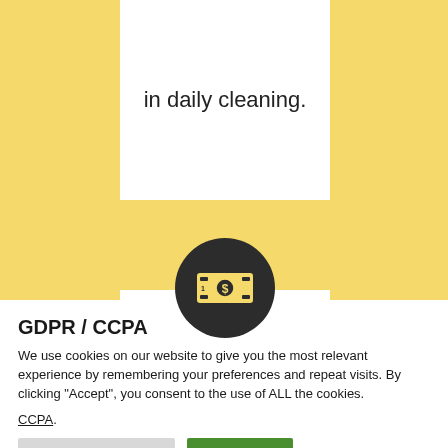in daily cleaning.
[Figure (illustration): Dark circular icon with a dollar bill symbol in yellow]
GDPR / CCPA
We use cookies on our website to give you the most relevant experience by remembering your preferences and repeat visits. By clicking “Accept”, you consent to the use of ALL the cookies.
CCPA.
Cookie Quickinfo
Accept